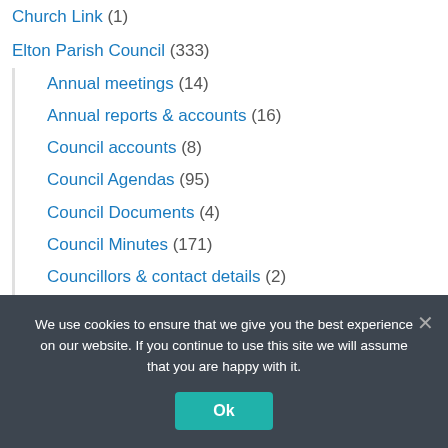Church Link (1)
Elton Parish Council (333)
Annual meetings (14)
Annual reports & accounts (16)
Council accounts (8)
Council Agendas (95)
Council Documents (4)
Council Minutes (171)
Councillors & contact details (2)
Planning applications (15)
The Parish Council's function (1)
We use cookies to ensure that we give you the best experience on our website. If you continue to use this site we will assume that you are happy with it.